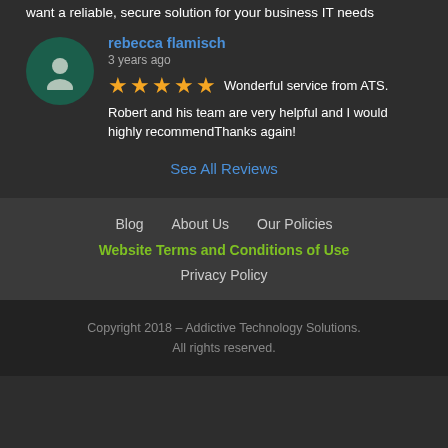want a reliable, secure solution for your business IT needs
rebecca flamisch
3 years ago
★★★★★ Wonderful service from ATS. Robert and his team are very helpful and I would highly recommendThanks again!
See All Reviews
Blog   About Us   Our Policies
Website Terms and Conditions of Use
Privacy Policy
Copyright 2018 – Addictive Technology Solutions. All rights reserved.